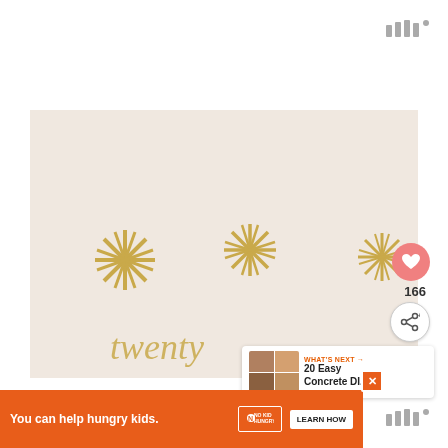[Figure (photo): A light pink/beige wall decorated with gold starburst/asterisk shapes and a gold cursive script text reading 'twenty' or similar at the bottom. Interface elements overlay the photo including a heart/save button, share button with count 166, and a 'What's Next' panel showing '20 Easy Concrete DI...']
WHAT'S NEXT → 20 Easy Concrete DI...
166
[Figure (infographic): Orange advertisement banner: 'You can help hungry kids.' with No Kid Hungry logo and 'LEARN HOW' button]